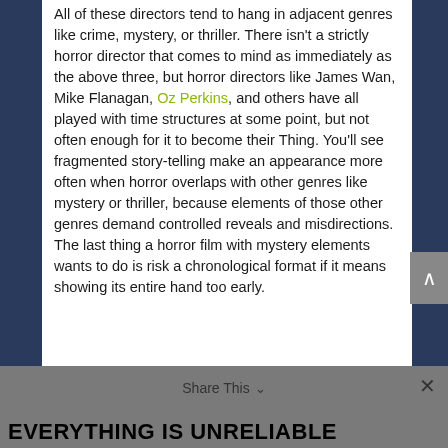All of these directors tend to hang in adjacent genres like crime, mystery, or thriller. There isn't a strictly horror director that comes to mind as immediately as the above three, but horror directors like James Wan, Mike Flanagan, Oz Perkins, and others have all played with time structures at some point, but not often enough for it to become their Thing. You'll see fragmented story-telling make an appearance more often when horror overlaps with other genres like mystery or thriller, because elements of those other genres demand controlled reveals and misdirections. The last thing a horror film with mystery elements wants to do is risk a chronological format if it means showing its entire hand too early.
EVERYTHING IS UNRELIABLE